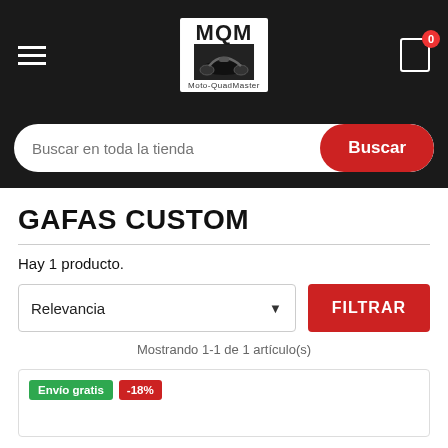[Figure (logo): MQM Moto-QuadMaster logo — white text on dark header with motorcycle silhouette graphic]
Buscar en toda la tienda
GAFAS CUSTOM
Hay 1 producto.
Relevancia
FILTRAR
Mostrando 1-1 de 1 artículo(s)
Envío gratis  -18%